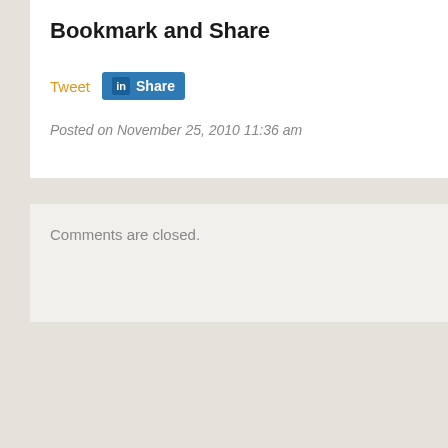Bookmark and Share
Tweet   Share
Posted on November 25, 2010 11:36 am
Comments are closed.